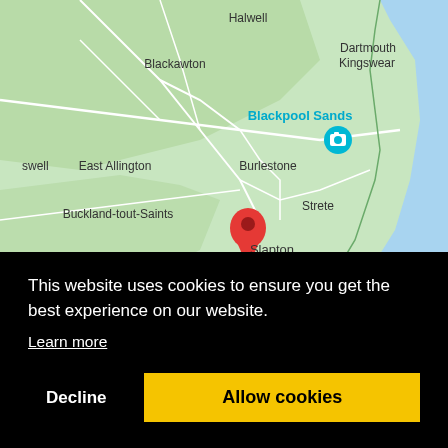[Figure (map): Google Maps screenshot showing coastal area of South Devon, England. Locations visible include Halwell, Blackawton, Dartmouth, Kingswear, Blackpool Sands (with camera icon), East Allington, Burlestone, Strete, Buckland-tout-Saints, Slapton (with red location pin), Kingsbridge, South Devon, Start Bay Caravan and (camping site). The map shows green land areas and blue sea/water.]
This website uses cookies to ensure you get the best experience on our website.
Learn more
Decline
Allow cookies